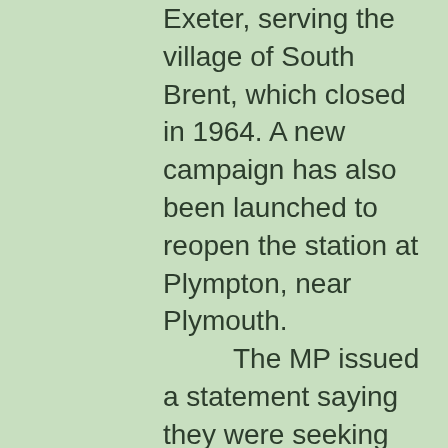Exeter, serving the village of South Brent, which closed in 1964. A new campaign has also been launched to reopen the station at Plympton, near Plymouth. The MP issued a statement saying they were seeking help from the community to create a local campaign of support to reopen the stations at Goodrington and Churston in Torbay. Mr Mangnall said: “Reopening these two stations will stimulate the local economy, remove cars from the road, reduce air pollution, help commuters and tourism and improve transport links. In order to submit a strong proposal, it is vital that we gain community support and gauge the views of residents on these proposals. If there is a positive